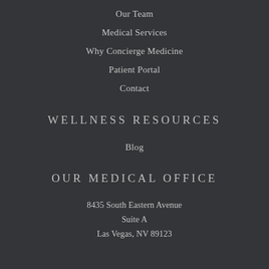Our Team
Medical Services
Why Concierge Medicine
Patient Portal
Contact
WELLNESS RESOURCES
Blog
OUR MEDICAL OFFICE
8435 South Eastern Avenue
Suite A
Las Vegas, NV 89123